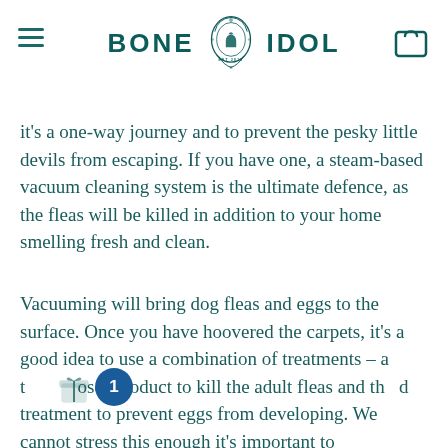BONE IDOL
it's a one-way journey and to prevent the pesky little devils from escaping. If you have one, a steam-based vacuum cleaning system is the ultimate defence, as the fleas will be killed in addition to your home smelling fresh and clean.
Vacuuming will bring dog fleas and eggs to the surface. Once you have hoovered the carpets, it's a good idea to use a combination of treatments – a t… l…osol product to kill the adult fleas and th…d treatment to prevent eggs from developing. We cannot stress this enough it's important to